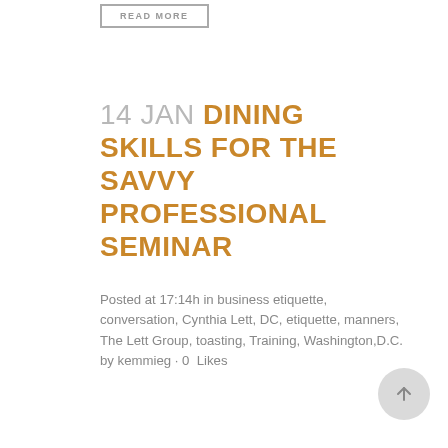READ MORE
14 JAN DINING SKILLS FOR THE SAVVY PROFESSIONAL SEMINAR
Posted at 17:14h in business etiquette, conversation, Cynthia Lett, DC, etiquette, manners, The Lett Group, toasting, Training, Washington,D.C. by kemmieg · 0 Likes